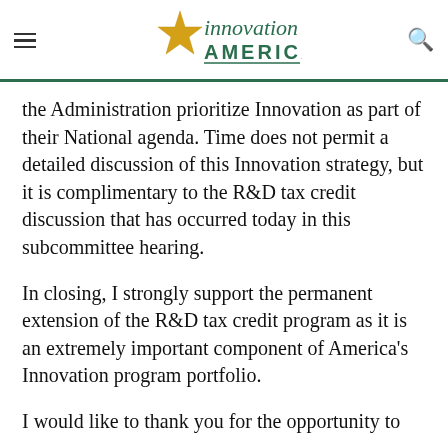Innovation America logo with hamburger menu and search icon
the Administration prioritize Innovation as part of their National agenda. Time does not permit a detailed discussion of this Innovation strategy, but it is complimentary to the R&D tax credit discussion that has occurred today in this subcommittee hearing.
In closing, I strongly support the permanent extension of the R&D tax credit program as it is an extremely important component of America's Innovation program portfolio.
I would like to thank you for the opportunity to